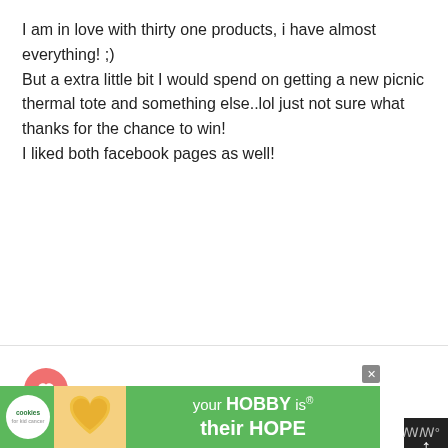I am in love with thirty one products, i have almost everything! ;) But a extra little bit I would spend on getting a new picnic thermal tote and something else..lol just not sure what thanks for the chance to win!
I liked both facebook pages as well!
Megan Smith
APRIL 12, 2011 AT 3:43 AM
my facebook page:
http://www.facebook.com/home.php#!/profile.php?
[Figure (screenshot): Advertisement banner at bottom: green background with cookies for kid cancer logo, heart-shaped cookie image, and text 'your HOBBY is their HOPE']